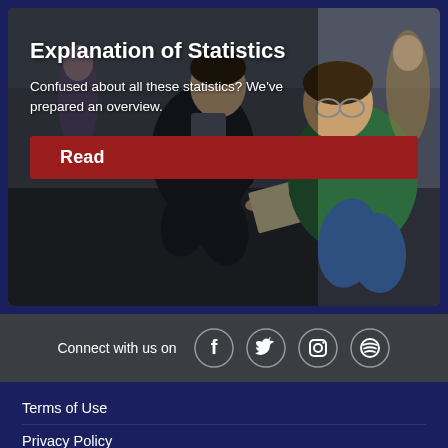[Figure (photo): Two young men crouching down and looking at a paper document together in what appears to be a gymnasium or event space. One wears a dark suit, the other a green polo shirt.]
Explanation of Statistics
Confused about all these statistics? We've prepared an overview.
Read
Connect with us on
Terms of Use
Privacy Policy
How-To Guides